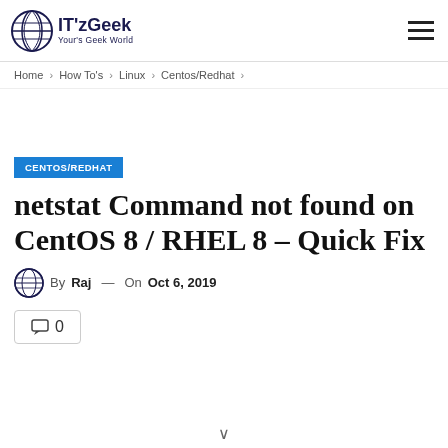IT'zGeek — Your's Geek World
Home > How To's > Linux > Centos/Redhat >
CENTOS/REDHAT
netstat Command not found on CentOS 8 / RHEL 8 – Quick Fix
By Raj — On Oct 6, 2019
0